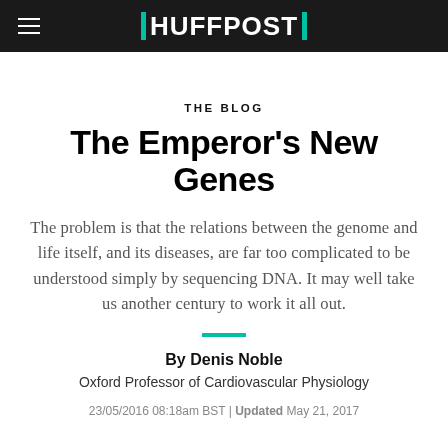HUFFPOST
THE BLOG
The Emperor's New Genes
The problem is that the relations between the genome and life itself, and its diseases, are far too complicated to be understood simply by sequencing DNA. It may well take us another century to work it all out.
By Denis Noble
Oxford Professor of Cardiovascular Physiology
23/05/2016 08:18am BST | Updated May 21, 2017